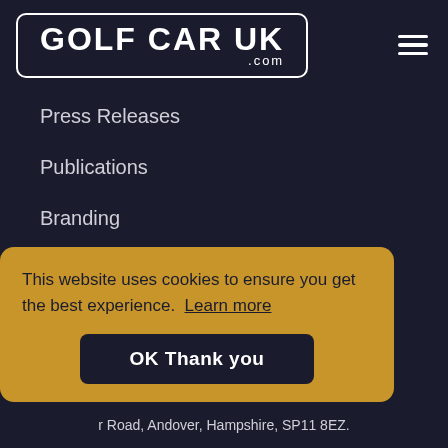[Figure (logo): Golf Car UK .com logo in white text with rounded rectangle border on dark navy background]
Press Releases
Publications
Branding
Legal
Terms and Conditions
This website uses cookies to ensure you get the best experience. Learn more
OK Thank you
Road, Andover, Hampshire, SP11 8EZ.